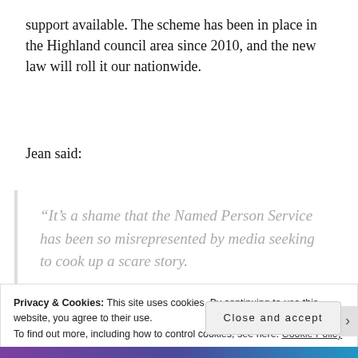support available. The scheme has been in place in the Highland council area since 2010, and the new law will roll it our nationwide.
Jean said:
“It’s a shame that the Named Person Service has been so misrepresented by media seeking to cook up a scare story.
Privacy & Cookies: This site uses cookies. By continuing to use this website, you agree to their use.
To find out more, including how to control cookies, see here: Cookie Policy
Close and accept